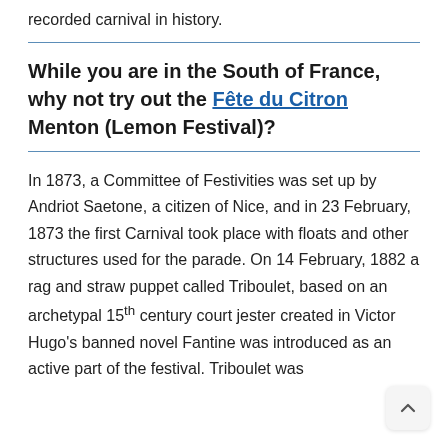recorded carnival in history.
While you are in the South of France, why not try out the Fête du Citron Menton (Lemon Festival)?
In 1873, a Committee of Festivities was set up by Andriot Saetone, a citizen of Nice, and in 23 February, 1873 the first Carnival took place with floats and other structures used for the parade. On 14 February, 1882 a rag and straw puppet called Triboulet, based on an archetypal 15th century court jester created in Victor Hugo's banned novel Fantine was introduced as an active part of the festival. Triboulet was